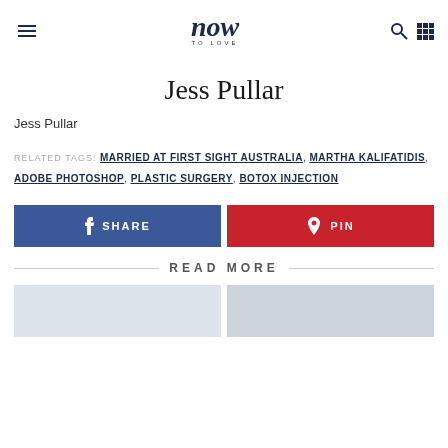now TO LOVE
Jess Pullar
Jess Pullar
RELATED TAGS: MARRIED AT FIRST SIGHT AUSTRALIA, MARTHA KALIFATIDIS, ADOBE PHOTOSHOP, PLASTIC SURGERY, BOTOX INJECTION
SHARE | PIN
READ MORE
[Figure (photo): Partial bottom image thumbnails]